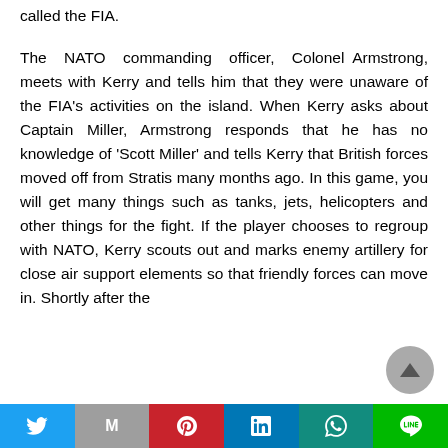called the FIA.
The NATO commanding officer, Colonel Armstrong, meets with Kerry and tells him that they were unaware of the FIA’s activities on the island. When Kerry asks about Captain Miller, Armstrong responds that he has no knowledge of ‘Scott Miller’ and tells Kerry that British forces moved off from Stratis many months ago. In this game, you will get many things such as tanks, jets, helicopters and other things for the fight. If the player chooses to regroup with NATO, Kerry scouts out and marks enemy artillery for close air support elements so that friendly forces can move in. Shortly after the